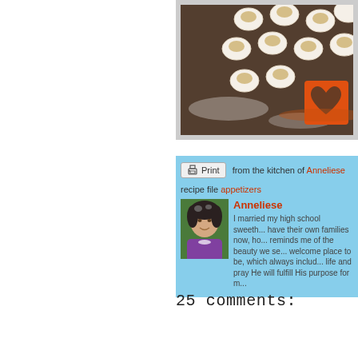[Figure (photo): Food photo showing dumplings/pierogi on a dark granite countertop with flour, and an orange heart-shaped cookie cutter in the foreground. Photo is cropped at top and right edges.]
Print   from the kitchen of Anneliese
recipe file appetizers
[Figure (photo): Profile photo of Anneliese, a woman with short dark hair with highlights, wearing a purple top, smiling.]
Anneliese
I married my high school sweeth... have their own families now, ho... reminds me of the beauty we se... welcome place to be, which always includ... life and pray He will fulfill His purpose for m...
25 comments: